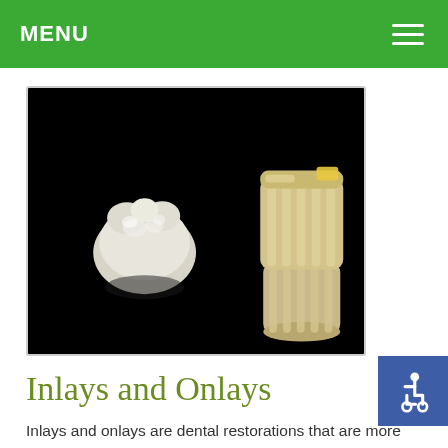MENU
[Figure (photo): Dental inlays and onlays photographed against a black background. On the left is a smaller white/translucent inlay; on the right are two larger cream/beige-colored onlays stacked.]
Inlays and Onlays
Inlays and onlays are dental restorations that are more extensive than dental fillings but less so than caps and crowns. They are typically formed in a dental lab and